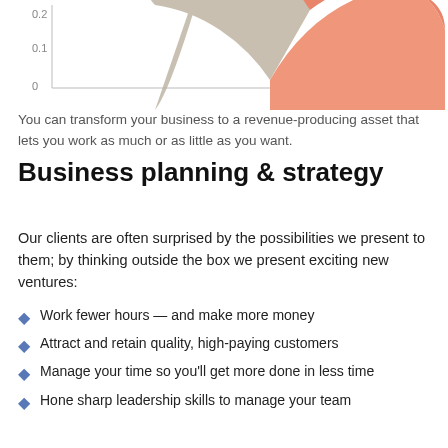[Figure (continuous-plot): Partial view of a pie or donut chart with salmon/orange and gray/beige slices visible at top, with y-axis labels 0, 0.1, 0.2 on the left]
You can transform your business to a revenue-producing asset that lets you work as much or as little as you want.
Business planning & strategy
Our clients are often surprised by the possibilities we present to them; by thinking outside the box we present exciting new ventures:
Work fewer hours — and make more money
Attract and retain quality, high-paying customers
Manage your time so you'll get more done in less time
Hone sharp leadership skills to manage your team